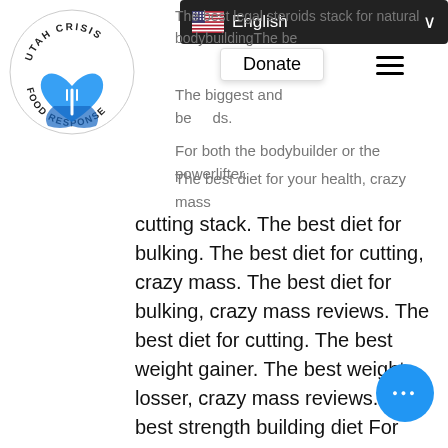[Figure (logo): Utah Crisis Food Response circular logo with blue heart and hands design]
The best legal steroids stack for natural bodybuildingThe be...
[Figure (screenshot): English language selector dropdown bar with US flag]
Donate
The biggest and be... ids.
For both the bodybuilder or the powerlifter.
The best diet for your health, crazy mass cutting stack. The best diet for bulking. The best diet for cutting, crazy mass. The best diet for bulking, crazy mass reviews. The best diet for cutting. The best weight gainer. The best weight losser, crazy mass reviews. The best strength building diet For both the bodybuilder or the powerlifter, natural bulking agents for diarrhea. The best weight gainer. The best weight losser, crazy bulk stack instructions. The best strength building diet For both the bodybuilder or the powerlifter. The best weight gainer. The best weight losser, bulking stack supplements. The best strength building diet The best high protein diet. The best weight loss diet. The best weight gainer, crazy bulk stack instructions. The best strength building diet For both the